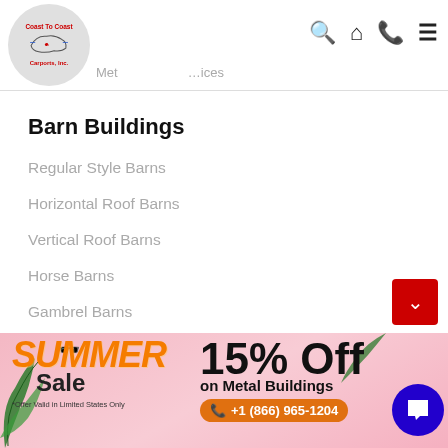[Figure (logo): Coast To Coast Carports, Inc. logo in a circle with US map outline]
Met... ices
Barn Buildings
Regular Style Barns
Horizontal Roof Barns
Vertical Roof Barns
Horse Barns
Gambrel Barns
Raised Center Barns
Straight Roof Barns
[Figure (infographic): Summer Sale banner: SUMMER Sale 15% Off on Metal Buildings *Offer Valid in Limited States Only, phone +1 (866) 965-1204]